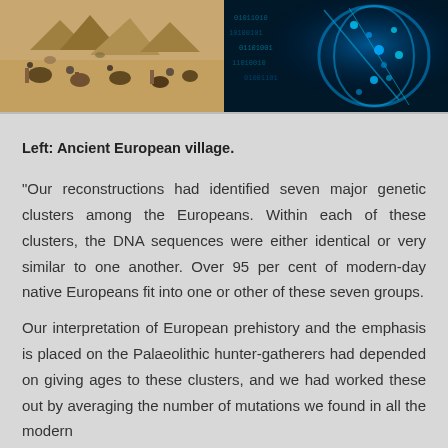[Figure (photo): Two photos side by side: left shows an ancient European village scene with people in an archaeological/prehistoric setting with sandy/earthy tones; right shows a digital DNA double helix visualization in blue tones with binary code.]
Left: Ancient European village.
“Our reconstructions had identified seven major genetic clusters among the Europeans. Within each of these clusters, the DNA sequences were either identical or very similar to one another. Over 95 per cent of modern-day native Europeans fit into one or other of these seven groups.
Our interpretation of European prehistory and the emphasis is placed on the Palaeolithic hunter-gatherers had depended on giving ages to these clusters, and we had worked these out by averaging the number of mutations we found in all the modern